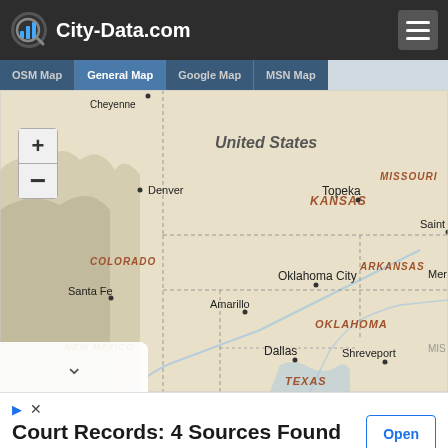City-Data.com
[Figure (map): General map of south-central United States showing states Colorado, Kansas, Missouri, New Mexico, Oklahoma, Arkansas, Texas and cities Denver, Topeka, Santa Fe, Amarillo, Oklahoma City, Dallas, Shreveport, Cheyenne. Map tabs: OSM Map, General Map, Google Map, MSN Map.]
Court Records: 4 Sources Found
DUIs, Felonies, Misdemeanors, Mugshots, Traffic Records, and more ReviewPublicRecords